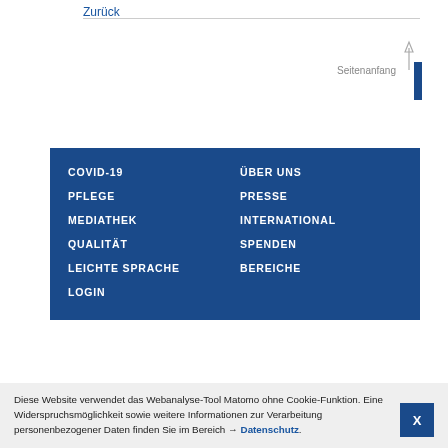Zurück
[Figure (illustration): Seitenanfang button with upward arrow and blue vertical bar]
COVID-19
ÜBER UNS
PFLEGE
PRESSE
MEDIATHEK
INTERNATIONAL
QUALITÄT
SPENDEN
LEICHTE SPRACHE
BEREICHE
LOGIN
Diese Website verwendet das Webanalyse-Tool Matomo ohne Cookie-Funktion. Eine Widerspruchsmöglichkeit sowie weitere Informationen zur Verarbeitung personenbezogener Daten finden Sie im Bereich → Datenschutz.